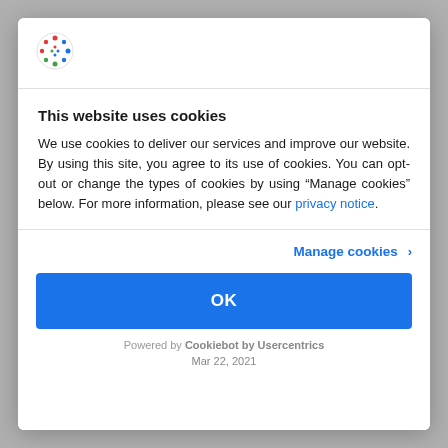[Figure (logo): Cookiebot logo: colorful dots arranged in a circle]
This website uses cookies
We use cookies to deliver our services and improve our website. By using this site, you agree to its use of cookies. You can opt-out or change the types of cookies by using “Manage cookies” below. For more information, please see our privacy notice.
Manage cookies ›
OK
Powered by Cookiebot by Usercentrics
Mar 22, 2021